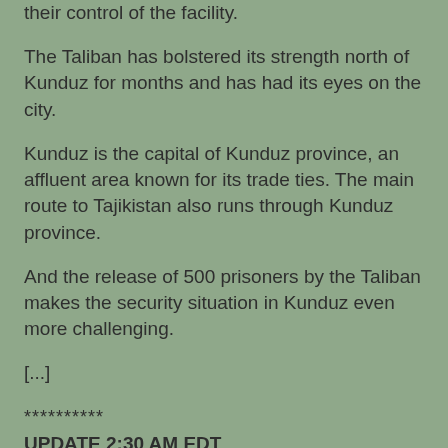their control of the facility.
The Taliban has bolstered its strength north of Kunduz for months and has had its eyes on the city.
Kunduz is the capital of Kunduz province, an affluent area known for its trade ties. The main route to Tajikistan also runs through Kunduz province.
And the release of 500 prisoners by the Taliban makes the security situation in Kunduz even more challenging.
[...]
**********
UPDATE 2:30 AM EDT
The latest, from Associated Press 2:00 am EDT via The New York Times:
KABUL, Afghanistan — The U.S. military says it has carried out an airstrike on the northern